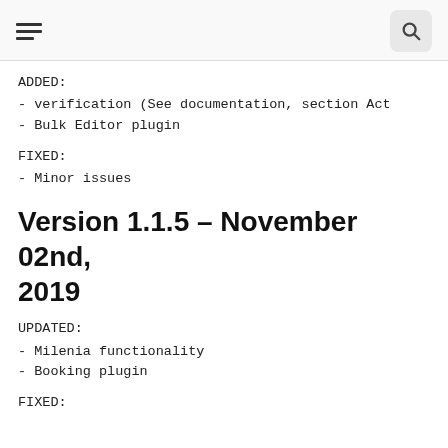[hamburger menu icon] [search icon]
ADDED:
- verification (See documentation, section Act
- Bulk Editor plugin
FIXED:
- Minor issues
Version 1.1.5 – November 02nd, 2019
UPDATED:
- Milenia functionality
- Booking plugin
FIXED: